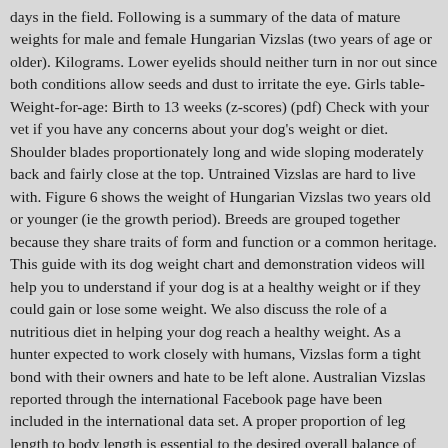days in the field. Following is a summary of the data of mature weights for male and female Hungarian Vizslas (two years of age or older). Kilograms. Lower eyelids should neither turn in nor out since both conditions allow seeds and dust to irritate the eye. Girls table- Weight-for-age: Birth to 13 weeks (z-scores) (pdf) Check with your vet if you have any concerns about your dog's weight or diet. Shoulder blades proportionately long and wide sloping moderately back and fairly close at the top. Untrained Vizslas are hard to live with. Figure 6 shows the weight of Hungarian Vizslas two years old or younger (ie the growth period). Breeds are grouped together because they share traits of form and function or a common heritage. This guide with its dog weight chart and demonstration videos will help you to understand if your dog is at a healthy weight or if they could gain or lose some weight. We also discuss the role of a nutritious diet in helping your dog reach a healthy weight. As a hunter expected to work closely with humans, Vizslas form a tight bond with their owners and hate to be left alone. Australian Vizslas reported through the international Facebook page have been included in the international data set. A proper proportion of leg length to body length is essential to the desired overall balance of the Vizsla. Their bodies are muscular and well proportioned. What Is My Dog's Ideal Weight? The short answer depends on your dog...